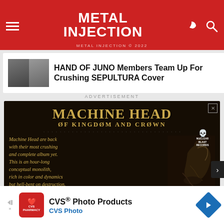METAL INJECTION
HAND OF JUNO Members Team Up For Crushing SEPULTURA Cover
ADVERTISEMENT
[Figure (illustration): Machine Head 'Of Kingdom and Crown' album advertisement. Shows album title in gold serif font, Nuclear Blast Records logo, descriptive text reading 'Machine Head are back with their most crushing and complete album yet. This is an hour-long conceptual monolith, rich in color and dynamics but hell-bent on destruction.' and 'OUT NOW' text at bottom, with dark fantasy figure artwork.]
[Figure (illustration): CVS Pharmacy advertisement for CVS Photo Products with CVS logo, text 'CVS® Photo Products' and 'CVS Photo', and a blue diamond-shaped navigation arrow icon.]